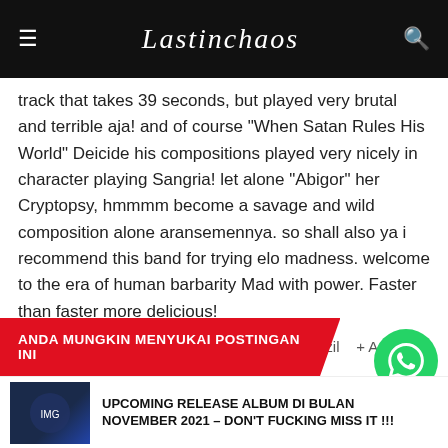Lastinchaos
track that takes 39 seconds, but played very brutal and terrible aja! and of course "When Satan Rules His World" Deicide his compositions played very nicely in character playing Sangria! let alone "Abigor" her Cryptopsy, hmmmm become a savage and wild composition alone aransemennya. so shall also ya i recommend this band for trying elo madness. welcome to the era of human barbarity Mad with power. Faster than faster more delicious!
Tags: -Brutal Death Metal * Sangria #Brazil + Anaites Records 2012
[Figure (infographic): Social share buttons: Facebook, Twitter, Pinterest, LinkedIn, WhatsApp, Email]
ANDA MUNGKIN MENYUKAI POSTINGAN INI
UPCOMING RELEASE ALBUM DI BULAN NOVEMBER 2021 – DON'T FUCKING MISS IT !!!